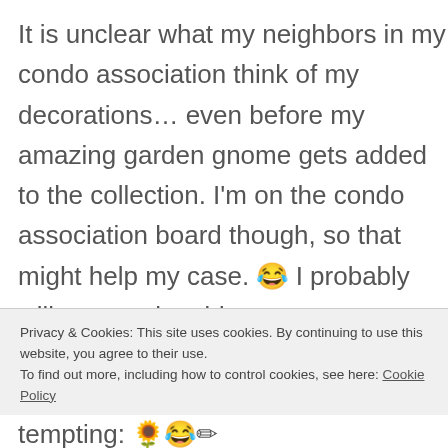It is unclear what my neighbors in my condo association think of my decorations… even before my amazing garden gnome gets added to the collection. I'm on the condo association board though, so that might help my case. 😂 I probably will try to only add
Privacy & Cookies: This site uses cookies. By continuing to use this website, you agree to their use.
To find out more, including how to control cookies, see here: Cookie Policy
Close and accept
tempting: 🌻😂✏